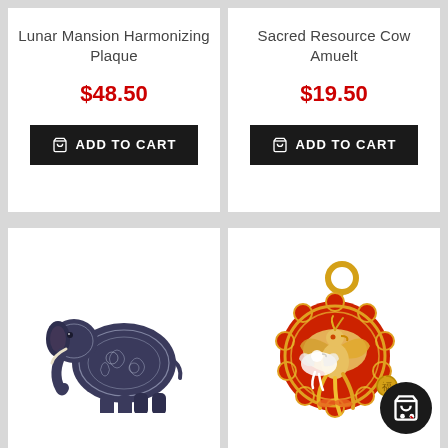Lunar Mansion Harmonizing Plaque
$48.50
ADD TO CART
Sacred Resource Cow Amuelt
$19.50
ADD TO CART
[Figure (illustration): Two ornate dark blue elephant figurines decorated with white floral patterns, shown side by side]
[Figure (illustration): A round red and gold keychain amulet featuring phoenix bird design with a gold ring at top]